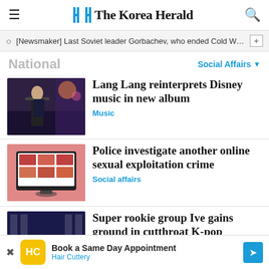The Korea Herald
[Newsmaker] Last Soviet leader Gorbachev, who ended Cold Wa...
National
Social Affairs
[Figure (photo): A man in a suit near a piano at night event]
Lang Lang reinterprets Disney music in new album
Music
[Figure (photo): A laptop showing a grid of images on pink background]
Police investigate another online sexual exploitation crime
Social affairs
[Figure (photo): A K-pop girl group on stage with bright lights]
Super rookie group Ive gains ground in cutthroat K-pop
Book a Same Day Appointment Hair Cuttery